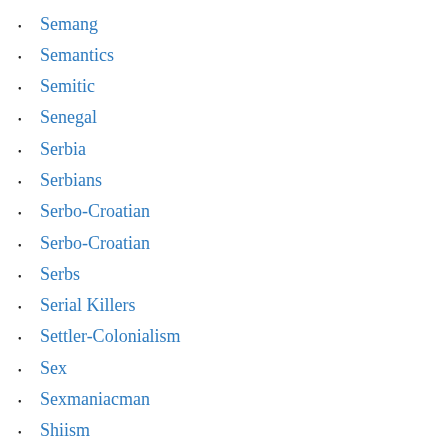Semang
Semantics
Semitic
Senegal
Serbia
Serbians
Serbo-Croatian
Serbo-Croatian
Serbs
Serial Killers
Settler-Colonialism
Sex
Sexmaniacman
Shiism
Shor
Siberia